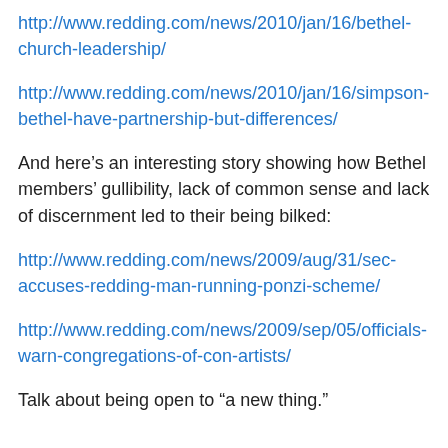http://www.redding.com/news/2010/jan/16/bethel-church-leadership/
http://www.redding.com/news/2010/jan/16/simpson-bethel-have-partnership-but-differences/
And here’s an interesting story showing how Bethel members’ gullibility, lack of common sense and lack of discernment led to their being bilked:
http://www.redding.com/news/2009/aug/31/sec-accuses-redding-man-running-ponzi-scheme/
http://www.redding.com/news/2009/sep/05/officials-warn-congregations-of-con-artists/
Talk about being open to “a new thing.”